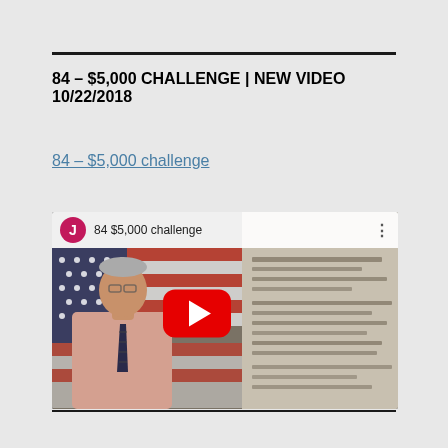84 – $5,000 CHALLENGE | NEW VIDEO 10/22/2018
84 – $5,000 challenge
[Figure (screenshot): YouTube video thumbnail showing a man in a pink shirt and tie standing in front of an American flag on the left, and a document on the right. The video is titled '84 $5,000 challenge' with a YouTube play button overlay and a 'J' avatar circle in magenta.]